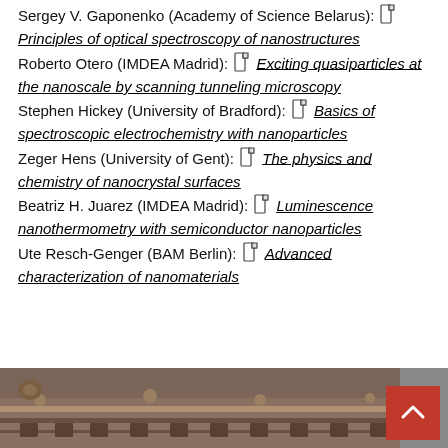Sergey V. Gaponenko (Academy of Science Belarus): Principles of optical spectroscopy of nanostructures
Roberto Otero (IMDEA Madrid): Exciting quasiparticles at the nanoscale by scanning tunneling microscopy
Stephen Hickey (University of Bradford): Basics of spectroscopic electrochemistry with nanoparticles
Zeger Hens (University of Gent): The physics and chemistry of nanocrystal surfaces
Beatriz H. Juarez (IMDEA Madrid): Luminescence nanothermometry with semiconductor nanoparticles
Ute Resch-Genger (BAM Berlin): Advanced characterization of nanomaterials
[Figure (photo): Photograph of a building facade with decorative elements, brownish stone architecture]